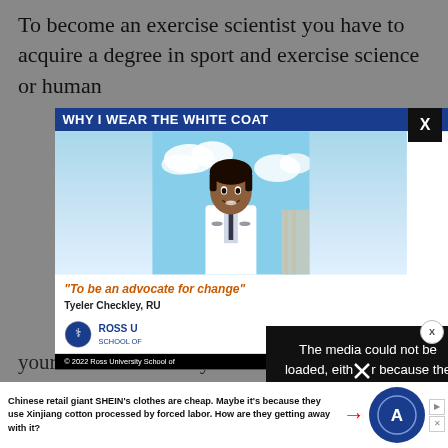To become an exercise scientist you have to acquire a degree in sport and exercise science or human
[Figure (screenshot): Advertisement modal overlay showing a Ross University School of Medicine ad with headline 'WHY I WEAR THE WHITE COAT' featuring a young man in a white coat and stethoscope, with quote 'To be an advocate for change' by Tyeler Checkley, RU, and Ross University logo. A media error message overlays part of the ad reading 'The media could not be loaded, either because the server or network failed or because the format is not supported.' A close X button appears in top right.]
your Senior Secondary Certi...
Esse... or
[Figure (screenshot): Bottom banner advertisement for SHEIN with text: 'Chinese retail giant SHEIN's clothes are cheap. Maybe it's because they use Xinjiang cotton processed by forced labor. How are they getting away with it?' with a red arrow and Alliance logo on the right.]